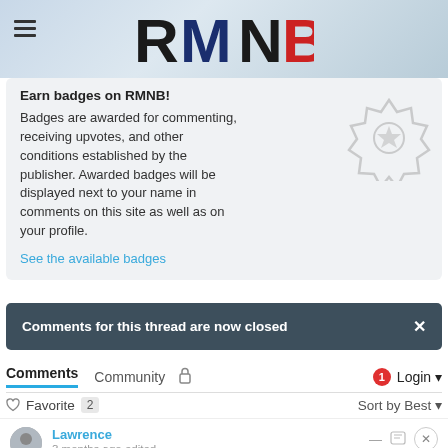[Figure (logo): RMNB logo with hamburger menu icon. R and N in black, M in dark blue, B in red.]
Earn badges on RMNB!
Badges are awarded for commenting, receiving upvotes, and other conditions established by the publisher. Awarded badges will be displayed next to your name in comments on this site as well as on your profile.
See the available badges
Comments for this thread are now closed
Comments   Community   [lock icon]   [1] Login
Favorite  2   Sort by Best
Lawrence
3 months ago edited